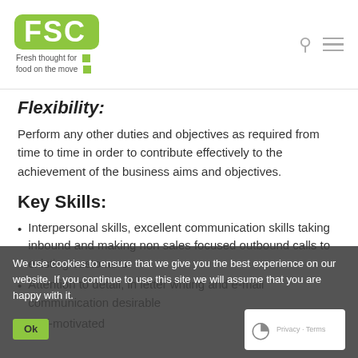[Figure (logo): FSC logo - green rounded rectangle with white FSC text, tagline 'Fresh thought for food on the move' with green squares]
Flexibility:
Perform any other duties and objectives as required from time to time in order to contribute effectively to the achievement of the business aims and objectives.
Key Skills:
Interpersonal skills, excellent communication skills taking inbound and making non sales focused outbound calls to existing customers.
Attention to detail, in letter writing and e-mail communication desirable
Self-motivated
We use cookies to ensure that we give you the best experience on our website. If you continue to use this site we will assume that you are happy with it.